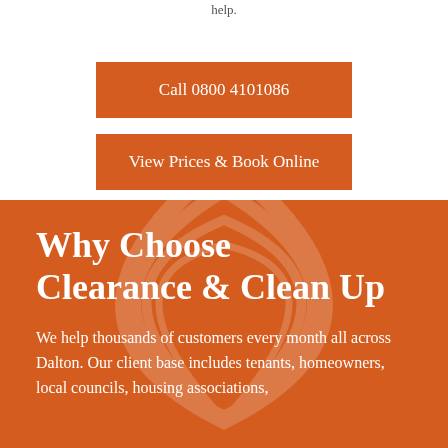help.
Call 0800 4101086
View Prices & Book Online
Why Choose Clearance & Clean Up
We help thousands of customers every month all across Dalton. Our client base includes tenants, homeowners, local councils, housing associations,